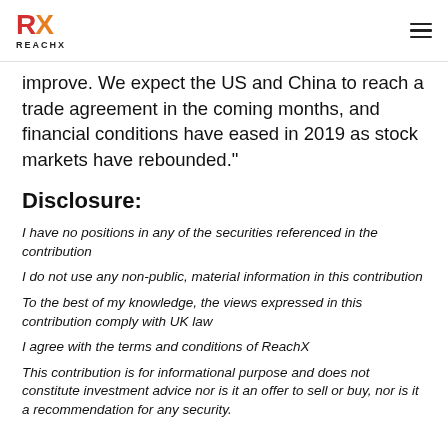RX REACHX
improve. We expect the US and China to reach a trade agreement in the coming months, and financial conditions have eased in 2019 as stock markets have rebounded."
Disclosure:
I have no positions in any of the securities referenced in the contribution
I do not use any non-public, material information in this contribution
To the best of my knowledge, the views expressed in this contribution comply with UK law
I agree with the terms and conditions of ReachX
This contribution is for informational purpose and does not constitute investment advice nor is it an offer to sell or buy, nor is it a recommendation for any security.